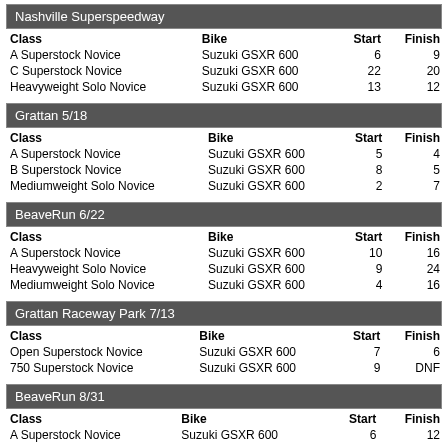Nashville Superspeedway
| Class | Bike | Start | Finish |
| --- | --- | --- | --- |
| A Superstock Novice | Suzuki GSXR 600 | 6 | 9 |
| C Superstock Novice | Suzuki GSXR 600 | 22 | 20 |
| Heavyweight Solo Novice | Suzuki GSXR 600 | 13 | 12 |
Grattan 5/18
| Class | Bike | Start | Finish |
| --- | --- | --- | --- |
| A Superstock Novice | Suzuki GSXR 600 | 5 | 4 |
| B Superstock Novice | Suzuki GSXR 600 | 8 | 5 |
| Mediumweight Solo Novice | Suzuki GSXR 600 | 2 | 7 |
BeaveRun 6/22
| Class | Bike | Start | Finish |
| --- | --- | --- | --- |
| A Superstock Novice | Suzuki GSXR 600 | 10 | 16 |
| Heavyweight Solo Novice | Suzuki GSXR 600 | 9 | 24 |
| Mediumweight Solo Novice | Suzuki GSXR 600 | 4 | 16 |
Grattan Raceway Park 7/13
| Class | Bike | Start | Finish |
| --- | --- | --- | --- |
| Open Superstock Novice | Suzuki GSXR 600 | 7 | 6 |
| 750 Superstock Novice | Suzuki GSXR 600 | 9 | DNF |
BeaveRun 8/31
| Class | Bike | Start | Finish |
| --- | --- | --- | --- |
| A Superstock Novice | Suzuki GSXR 600 | 6 | 12 |
Nelson L...
GingerMa...
Nelson L...
Grattan R...
Nelson L...